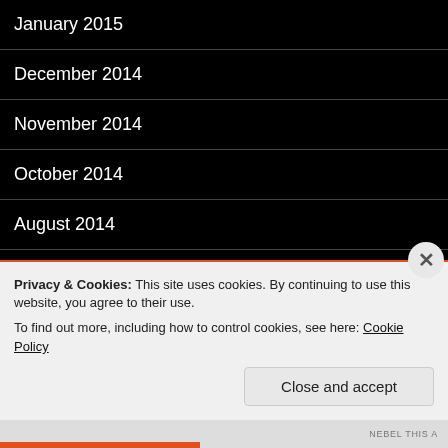January 2015
December 2014
November 2014
October 2014
August 2014
July 2014
June 2014
May 2014
April 2014
Privacy & Cookies: This site uses cookies. By continuing to use this website, you agree to their use.
To find out more, including how to control cookies, see here: Cookie Policy
Close and accept